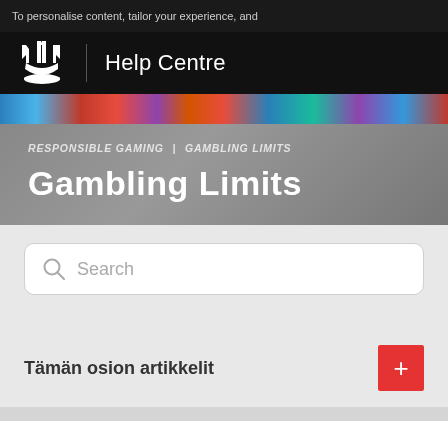To personalise content, tailor your experience, and
[Figure (logo): Trident crown logo with Help Centre text on black navigation bar]
[Figure (photo): Colorful banner image strip with gaming imagery]
RESPONSIBLE GAMING | GAMBLING LIMITS
Gambling Limits
Search
Tämän osion artikkelit